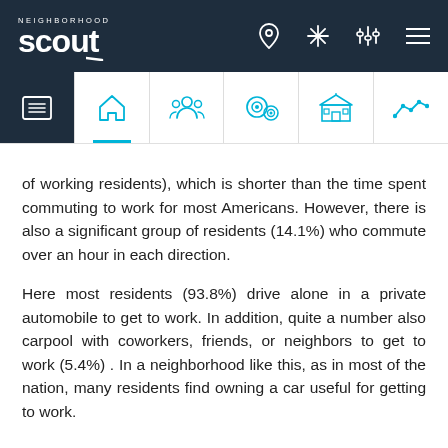Neighborhood Scout - navigation header
of working residents), which is shorter than the time spent commuting to work for most Americans. However, there is also a significant group of residents (14.1%) who commute over an hour in each direction.
Here most residents (93.8%) drive alone in a private automobile to get to work. In addition, quite a number also carpool with coworkers, friends, or neighbors to get to work (5.4%) . In a neighborhood like this, as in most of the nation, many residents find owning a car useful for getting to work.